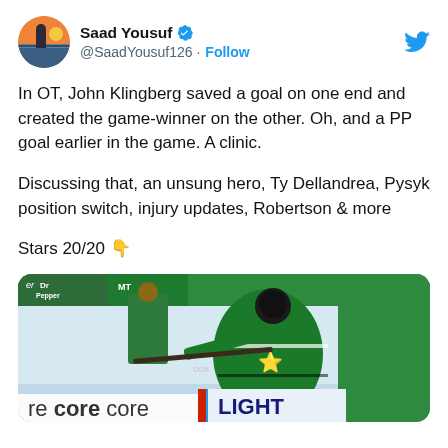[Figure (screenshot): Twitter/X profile header with avatar photo of Saad Yousuf (man standing outdoors at sunset near water), display name 'Saad Yousuf' with blue verified checkmark, handle '@SaadYousuf126 · Follow', and Twitter bird logo top-right]
In OT, John Klingberg saved a goal on one end and created the game-winner on the other. Oh, and a PP goal earlier in the game. A clinic.
Discussing that, an unsung hero, Ty Dellandrea, Pysyk position switch, injury updates, Robertson & more
Stars 20/20 👇
[Figure (photo): Hockey player in green Dallas Stars jersey shooting a puck on ice, with rink boards showing partial sponsor logos including 're core core' and 'LIGHT', and a person in background]